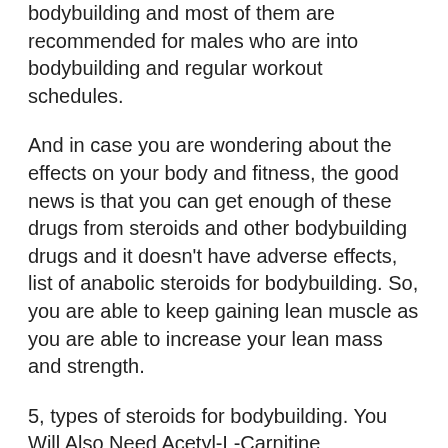bodybuilding and most of them are recommended for males who are into bodybuilding and regular workout schedules.
And in case you are wondering about the effects on your body and fitness, the good news is that you can get enough of these drugs from steroids and other bodybuilding drugs and it doesn't have adverse effects, list of anabolic steroids for bodybuilding. So, you are able to keep gaining lean muscle as you are able to increase your lean mass and strength.
5, types of steroids for bodybuilding. You Will Also Need Acetyl-L-Carnitine
What do you need to know now about the effect of l-carnitine and what happens to your body in terms of metabolism when consuming l-carnitine after you consume